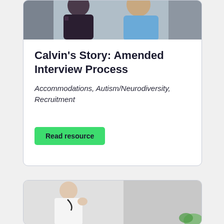[Figure (photo): Photo of two people standing together, one in dark clothing and one in a blue top, cropped at the top of the card]
Calvin's Story: Amended Interview Process
Accommodations, Autism/Neurodiversity, Recruitment
Read resource
[Figure (photo): Photo of a person in white coat holding something near their face, partial view of lower card]